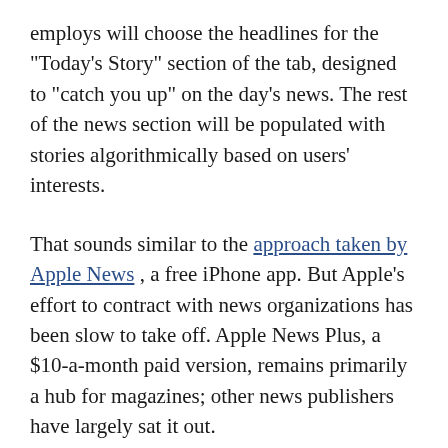employs will choose the headlines for the "Today's Story" section of the tab, designed to "catch you up" on the day's news. The rest of the news section will be populated with stories algorithmically based on users' interests.
That sounds similar to the approach taken by Apple News , a free iPhone app. But Apple's effort to contract with news organizations has been slow to take off. Apple News Plus, a $10-a-month paid version, remains primarily a hub for magazines; other news publishers have largely sat it out.
Apple's service reportedly offered publishers only half the revenue it pulled in from subscriptions, divided according to how popular publishers were with